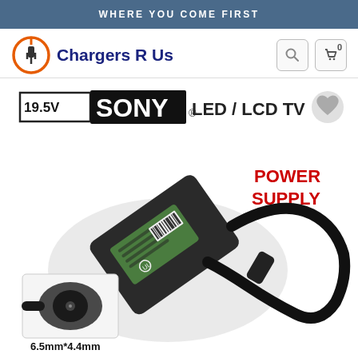WHERE YOU COME FIRST
[Figure (logo): Chargers R Us logo with orange circle and plug icon]
[Figure (photo): 19.5V Sony LED/LCD TV Power Supply adapter with cable and 6.5mm*4.4mm connector tip shown. POWER SUPPLY text in red. Sony logo in white on black background.]